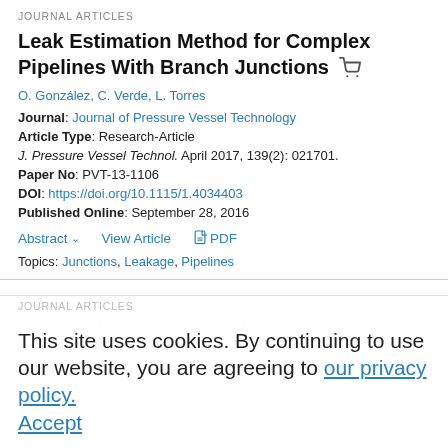JOURNAL ARTICLES
Leak Estimation Method for Complex Pipelines With Branch Junctions
O. González, C. Verde, L. Torres
Journal: Journal of Pressure Vessel Technology
Article Type: Research-Article
J. Pressure Vessel Technol. April 2017, 139(2): 021701.
Paper No: PVT-13-1106
DOI: https://doi.org/10.1115/1.4034403
Published Online: September 28, 2016
Abstract  View Article  PDF
Topics: Junctions, Leakage, Pipelines
This site uses cookies. By continuing to use our website, you are agreeing to our privacy policy. Accept